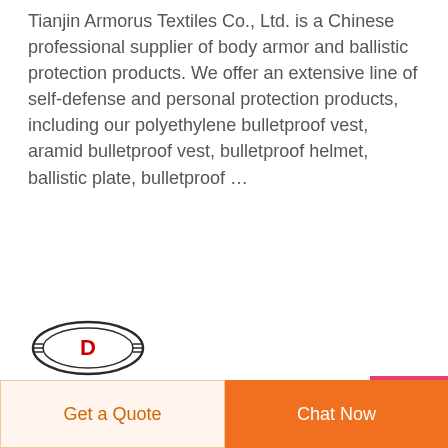Tianjin Armorus Textiles Co., Ltd. is a Chinese professional supplier of body armor and ballistic protection products. We offer an extensive line of self-defense and personal protection products, including our polyethylene bulletproof vest, aramid bulletproof vest, bulletproof helmet, ballistic plate, bulletproof ...
[Figure (logo): DEEKON brand logo with oval emblem containing letter D, and red DEEKON text below]
[Figure (photo): Camouflage pattern fabric image in green, brown, and tan military camo]
Get a Quote
Chat Now